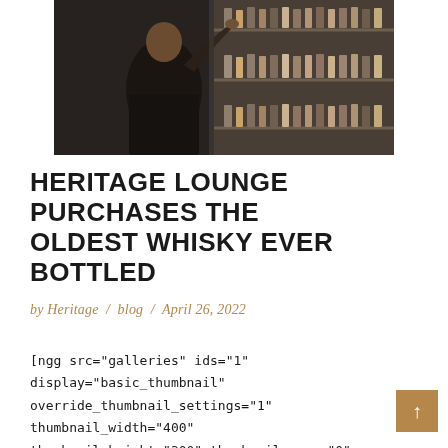[Figure (photo): A bartender reaching up to shelves stocked with whisky bottles in a bar lounge setting. The photo is taken from behind showing the person in a dark jacket, with glass shelves full of bottles.]
HERITAGE LOUNGE PURCHASES THE OLDEST WHISKY EVER BOTTLED
by Heritage / blog / April 26, 2022
[ngg src="galleries" ids="1" display="basic_thumbnail" override_thumbnail_settings="1" thumbnail_width="400" thumbnail_height="300" thumbnail_crop="0"